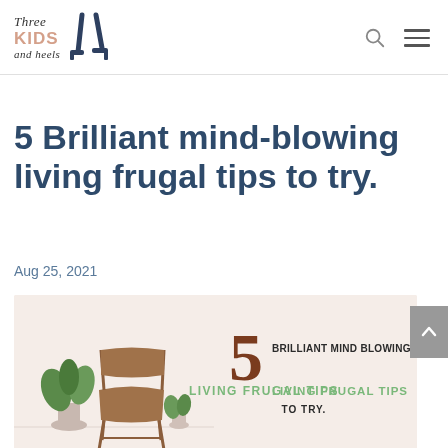Three Kids and Heels
5 Brilliant mind-blowing living frugal tips to try.
Aug 25, 2021
[Figure (infographic): Decorative infographic image with a minimalist room scene featuring a wooden chair, green plants, and text overlay reading '5 BRILLIANT MIND BLOWING LIVING FRUGAL TIPS TO TRY.' with the number 5 in large brown font and 'LIVING FRUGAL TIPS' in green.]